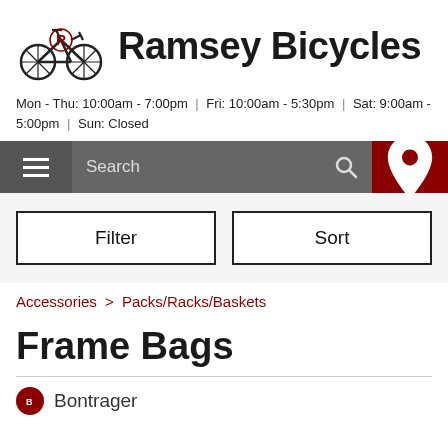[Figure (logo): Ramsey Bicycles logo with cyclist icon and bold brand name]
Mon - Thu: 10:00am - 7:00pm | Fri: 10:00am - 5:30pm | Sat: 9:00am - 5:00pm | Sun: Closed
[Figure (screenshot): Navigation bar with hamburger menu, search bar, and location icon]
[Figure (screenshot): Filter and Sort buttons]
Accessories > Packs/Racks/Baskets
Frame Bags
Bontrager